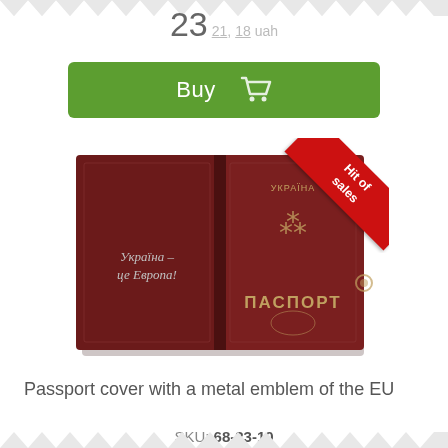23  21, 18 uah
[Figure (screenshot): Green Buy button with shopping cart icon]
[Figure (photo): Passport cover with metal emblem, dark red leather, text in Ukrainian 'Ukraina - tse Evropa!' and 'PASPORT', with a red 'Hit of sales' ribbon in top right corner]
Passport cover with a metal emblem of the EU
SKU: 68-23-10
23  21, 18 uah